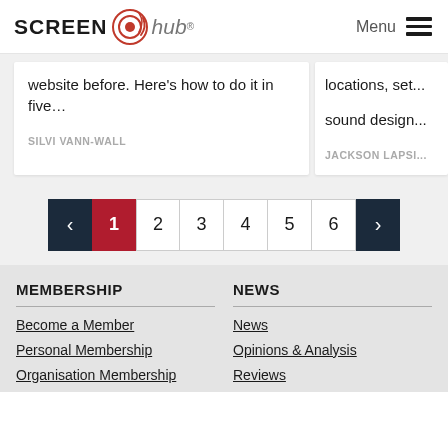[Figure (logo): ScreenHub logo with circular target icon and text 'SCREEN hub']
Menu
website before. Here's how to do it in five…
SILVI VANN-WALL
locations, set... sound design...
JACKSON LAPSI...
[Figure (other): Pagination control with prev arrow, pages 1 (active/red), 2, 3, 4, 5, 6, next arrow]
MEMBERSHIP
NEWS
Become a Member
Personal Membership
Organisation Membership
News
Opinions & Analysis
Reviews